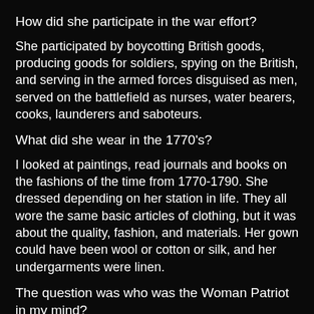How did she participate in the war effort?
She participated by boycotting British goods, producing goods for soldiers, spying on the British, and serving in the armed forces disguised as men, served on the battlefield as nurses, water bearers, cooks, launderers and saboteurs.
What did she wear in the 1770's?
I looked at paintings, read journals and books on the fashions of the time from 1770-1790. She dressed depending on her station in life. They all wore the same basic articles of clothing, but it was about the quality, fashion, and materials. Her gown could have been wool or cotton or silk, and her undergarments were linen.
The question was who was the Woman Patriot in my mind?
I had the image of a woman who was not the farm girl, but slightly better dressed and who could be a camp follower and yet pass herself off as a educated lady when it became necessary. Not a socialite but working class like a teacher